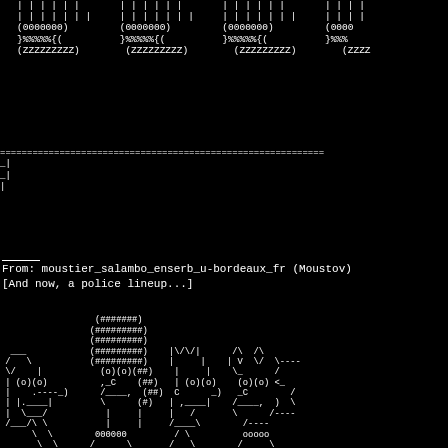[Figure (illustration): ASCII art showing repeated patterns of vertical bars, (0000000), }%%%%%{, and (ZZZZZZZZZ) across four columns on black background]
[Figure (illustration): ASCII art divider with === line and horizontal lines with _| markers]
From: moustier_salambo_enserb_u-bordeaux_fr (Moustov)
[And now, a police lineup...]
[Figure (illustration): ASCII art police lineup showing four cartoon figures made of text characters, each with faces, bodies made of characters like (o)(o), ####, /\, etc. Bottom row shows labels: 000000 and ooooo]